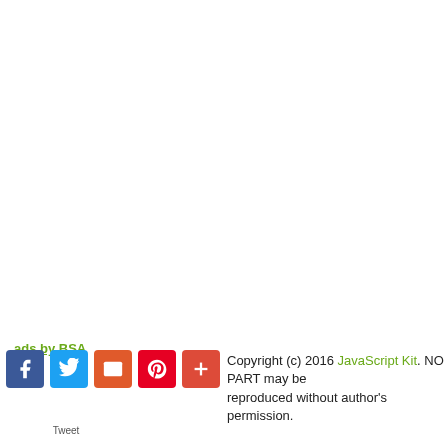ads by BSA
Copyright (c) 2016 JavaScript Kit. NO PART may be reproduced without author's permission.